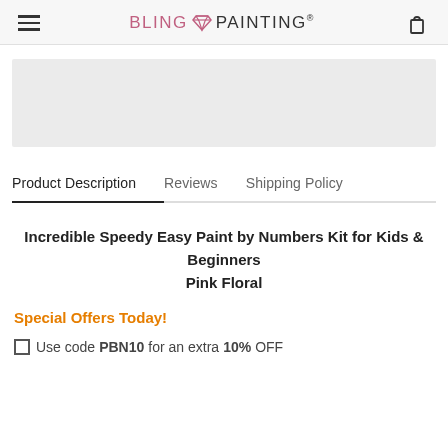BLING PAINTING®
[Figure (other): Light gray rectangular image placeholder area]
Product Description   Reviews   Shipping Policy
Incredible Speedy Easy Paint by Numbers Kit for Kids & Beginners
Pink Floral
Special Offers Today!
□ Use code PBN10 for an extra 10% OFF